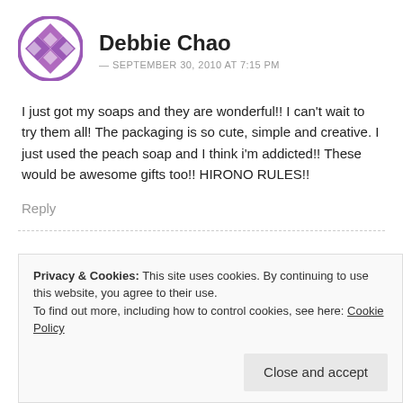[Figure (illustration): Purple geometric avatar icon in a circle for user Debbie Chao]
Debbie Chao
— SEPTEMBER 30, 2010 AT 7:15 PM
I just got my soaps and they are wonderful!! I can't wait to try them all! The packaging is so cute, simple and creative. I just used the peach soap and I think i'm addicted!! These would be awesome gifts too!! HIRONO RULES!!
Reply
Privacy & Cookies: This site uses cookies. By continuing to use this website, you agree to their use.
To find out more, including how to control cookies, see here: Cookie Policy
Close and accept